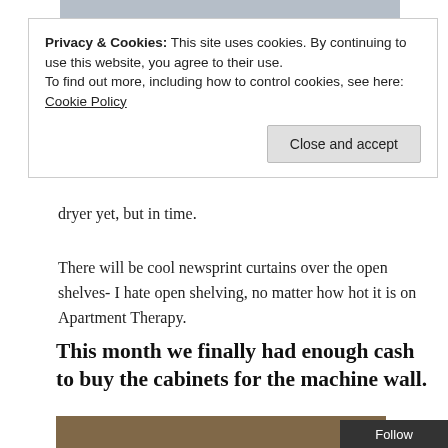[Figure (photo): Partial image visible at the top of the page, cropped]
Privacy & Cookies: This site uses cookies. By continuing to use this website, you agree to their use.
To find out more, including how to control cookies, see here: Cookie Policy
Close and accept
dryer yet, but in time.
There will be cool newsprint curtains over the open shelves- I hate open shelving, no matter how hot it is on Apartment Therapy.
This month we finally had enough cash to buy the cabinets for the machine wall.
[Figure (photo): Photo of Ikea cabinets/drawers being delivered or installed]
Ikea delivered th
Follow